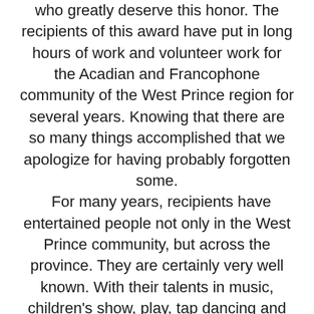who greatly deserve this honor. The recipients of this award have put in long hours of work and volunteer work for the Acadian and Francophone community of the West Prince region for several years. Knowing that there are so many things accomplished that we apologize for having probably forgotten some. For many years, recipients have entertained people not only in the West Prince community, but across the province. They are certainly very well known. With their talents in music, children's show, play, tap dancing and good food. This group of people includes 2 sisters and 4 brothers who live all over the Island now and several grandchildren and great-grandchildren. The next